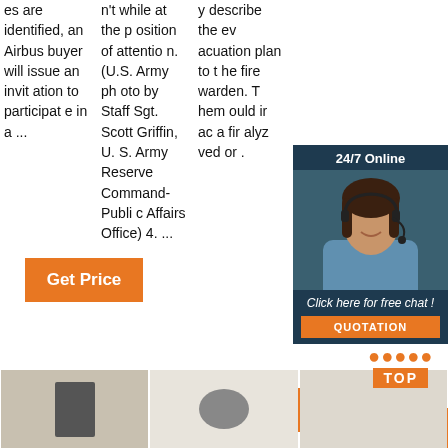es are identified, an Airbus buyer will issue an invitation to participate in a ...
n't while at the position of attention. (U.S. Army photo by Staff Sgt. Scott Griffin, U.S. Army Reserve Command-Public Affairs Office) 4. ...
y describe the evacuation plan to the fire warden. They should analyze ... or ...
[Figure (photo): Chat widget overlay showing a woman with headset, 24/7 Online label, Click here for free chat!, QUOTATION button]
[Figure (photo): Bottom row of three product/scene thumbnail images]
[Figure (other): TOP button with orange dots and label]